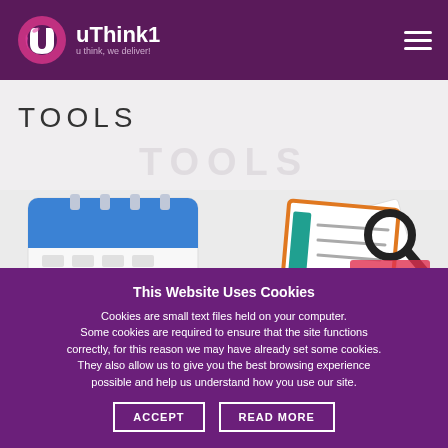uThink1 - u think, we deliver!
TOOLS
[Figure (illustration): Two illustration icons: a calendar/scheduler icon on the left and a document search/magnifying glass icon on the right, partially visible]
This Website Uses Cookies
Cookies are small text files held on your computer. Some cookies are required to ensure that the site functions correctly, for this reason we may have already set some cookies. They also allow us to give you the best browsing experience possible and help us understand how you use our site.